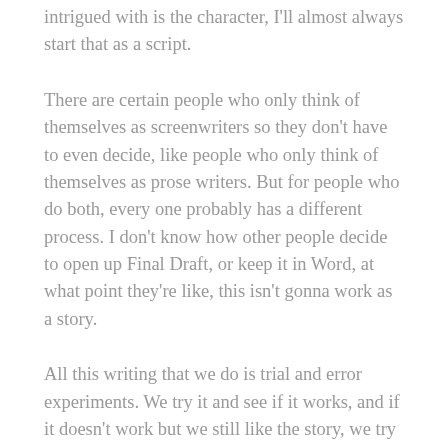intrigued with is the character, I'll almost always start that as a script.
There are certain people who only think of themselves as screenwriters so they don't have to even decide, like people who only think of themselves as prose writers. But for people who do both, every one probably has a different process. I don't know how other people decide to open up Final Draft, or keep it in Word, at what point they're like, this isn't gonna work as a story.
All this writing that we do is trial and error experiments. We try it and see if it works, and if it doesn't work but we still like the story, we try it in another way. Prose vs. script is another set of choices we can make to decide if the story lives better like this or like that.